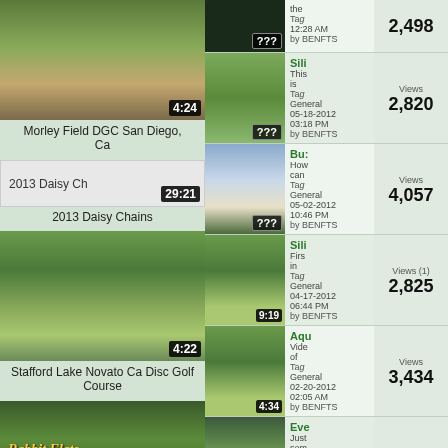[Figure (screenshot): Left column: video thumbnails with titles. Right column: list of video entries with thumbnails, metadata, and view counts.]
Morley Field DGC San Diego, Ca
2013 Daisy Chains
Stafford Lake Novato Ca Disc Golf Course
Rabbit Flats Disc Golf Course
| Thumbnail | Info | Views |
| --- | --- | --- |
| ??? | the / Tag / 12:28 AM / by BENFTS | 2,498 |
| Sili / This is / Tag | General / 05-18-2012 / 03:18 PM / by BENFTS | Views / 2,820 |
| Bu: / How can / Tag | General / 05-02-2012 / 10:46 PM / by BENFTS | Views / 4,057 |
| Sili / Firs in / Tag | General / 04-17-2012 / 06:44 PM / by BENFTS | Views (1) / 2,825 |
| Aqu / Vide of / Tag | General / 02-20-2012 / 02:05 AM / by BENFTS | Views / 3,434 |
| Eve / Just som / Tag | General / 02-16-2012 / 03:18 AM / by BENFTS | Views / 3,511 |
| Sta / Staf Lake / Tag | General / 02-10-2012 / 02:35 AM / by BENFTS | Views / 3,811 |